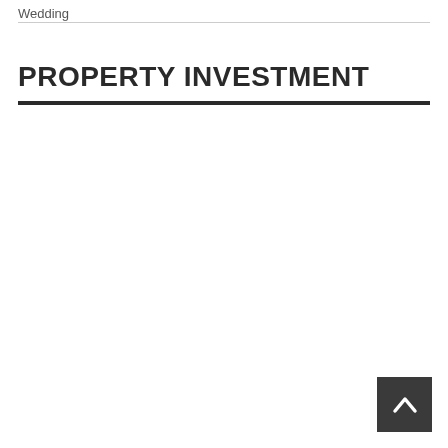Wedding
PROPERTY INVESTMENT
[Figure (other): Scroll-to-top button with upward chevron arrow icon, dark grey square button in bottom-right corner]